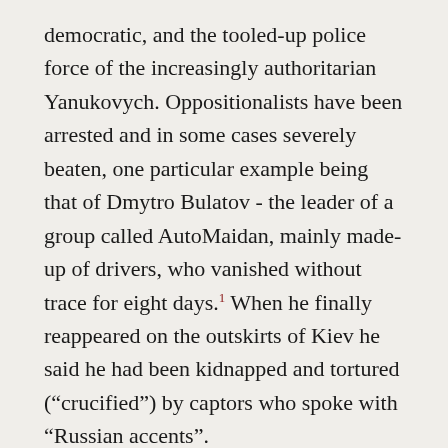democratic, and the tooled-up police force of the increasingly authoritarian Yanukovych. Oppositionalists have been arrested and in some cases severely beaten, one particular example being that of Dmytro Bulatov - the leader of a group called AutoMaidan, mainly made-up of drivers, who vanished without trace for eight days.1 When he finally reappeared on the outskirts of Kiev he said he had been kidnapped and tortured (“crucified”) by captors who spoke with “Russian accents”.
The turmoil has revealed deep divisions within the country, which seems to be disintegrating before our very eyes. The primary fissure, regrettably,